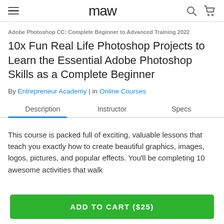maw
Adobe Photoshop CC: Complete Beginner to Advanced Training 2022
10x Fun Real Life Photoshop Projects to Learn the Essential Adobe Photoshop Skills as a Complete Beginner
By Entrepreneur Academy | in Online Courses
Description | Instructor | Specs
This course is packed full of exciting, valuable lessons that teach you exactly how to create beautiful graphics, images, logos, pictures, and popular effects. You'll be completing 10 awesome activities that walk